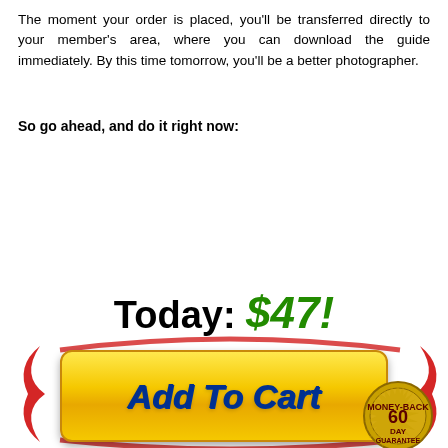The moment your order is placed, you'll be transferred directly to your member's area, where you can download the guide immediately. By this time tomorrow, you'll be a better photographer.
So go ahead, and do it right now:
[Figure (infographic): Sales page call-to-action section showing price 'Today: $47!', a large yellow 'Add To Cart' button with red swoosh arrows, a 60-day money-back guarantee badge, an 'Add To Cart' link, payment icons (VISA, MasterCard, Discover, American Express, PayPal), a 256-bit SSL Encryption security badge, and a PayPal Verified badge.]